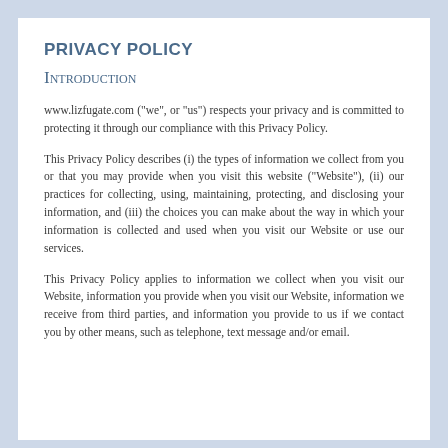PRIVACY POLICY
Introduction
www.lizfugate.com ("we", or "us") respects your privacy and is committed to protecting it through our compliance with this Privacy Policy.
This Privacy Policy describes (i) the types of information we collect from you or that you may provide when you visit this website ("Website"), (ii) our practices for collecting, using, maintaining, protecting, and disclosing your information, and (iii) the choices you can make about the way in which your information is collected and used when you visit our Website or use our services.
This Privacy Policy applies to information we collect when you visit our Website, information you provide when you visit our Website, information we receive from third parties, and information you provide to us if we contact you by other means, such as telephone, text message and/or email.